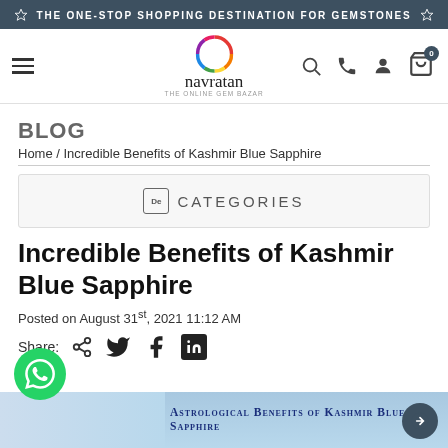THE ONE-STOP SHOPPING DESTINATION FOR GEMSTONES
[Figure (logo): Navratan - The Online Gem Bazar logo with colorful circular emblem and navigation icons]
BLOG
Home / Incredible Benefits of Kashmir Blue Sapphire
CATEGORIES
Incredible Benefits of Kashmir Blue Sapphire
Posted on August 31st, 2021 11:12 AM
Share:
[Figure (screenshot): Bottom image banner showing Astrological Benefits of Kashmir Blue Sapphire with blue background and chat button]